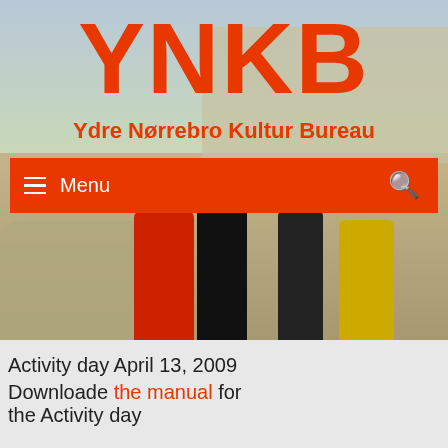YNKB
Ydre Nørrebro Kultur Bureau
[Figure (photo): Outdoor photo of people walking on a dirt road with rocks and old stone buildings in the background. Several people visible including one in a red jacket and one in yellow.]
≡ Menu
Activity day April 13, 2009
Downloade the manual for the Activity day